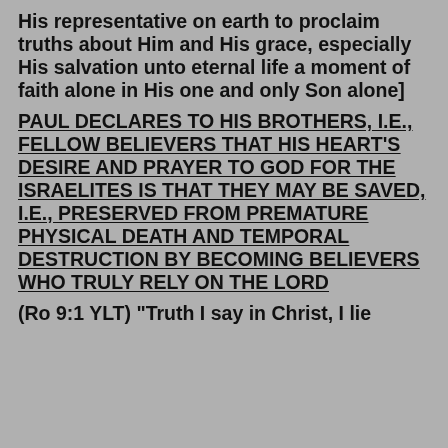His representative on earth to proclaim truths about Him and His grace, especially His salvation unto eternal life a moment of faith alone in His one and only Son alone]
PAUL DECLARES TO HIS BROTHERS, I.E., FELLOW BELIEVERS THAT HIS HEART'S DESIRE AND PRAYER TO GOD FOR THE ISRAELITES IS THAT THEY MAY BE SAVED, I.E., PRESERVED FROM PREMATURE PHYSICAL DEATH AND TEMPORAL DESTRUCTION BY BECOMING BELIEVERS WHO TRULY RELY ON THE LORD
(Ro 9:1 YLT) "Truth I say in Christ, I lie